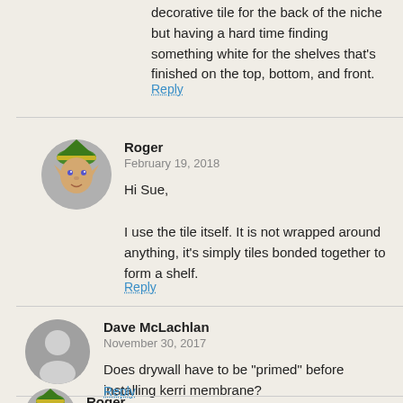decorative tile for the back of the niche but having a hard time finding something white for the shelves that's finished on the top, bottom, and front.
Reply
Roger
February 19, 2018

Hi Sue,

I use the tile itself. It is not wrapped around anything, it's simply tiles bonded together to form a shelf.
Reply
Dave McLachlan
November 30, 2017

Does drywall have to be "primed" before installing kerri membrane?
Reply
Roger